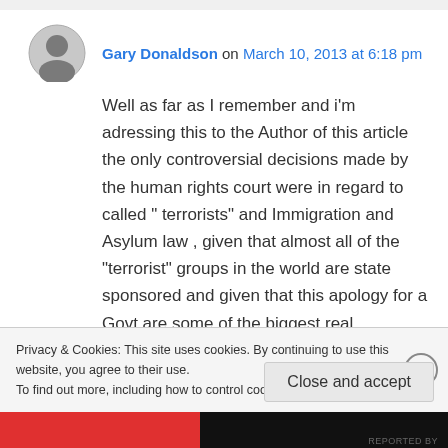Gary Donaldson on March 10, 2013 at 6:18 pm
Well as far as I remember and i'm adressing this to the Author of this article the only controversial decisions made by the human rights court were in regard to called " terrorists" and Immigration and Asylum law , given that almost all of the "terrorist" groups in the world are state sponsored and given that this apology for a Govt are some of the biggest real Terrorists, i'd ascent
Privacy & Cookies: This site uses cookies. By continuing to use this website, you agree to their use. To find out more, including how to control cookies, see here: Cookie Policy